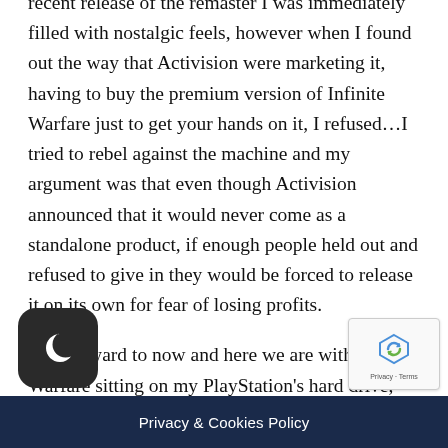recent release of the remaster I was immediately filled with nostalgic feels, however when I found out the way that Activision were marketing it, having to buy the premium version of Infinite Warfare just to get your hands on it, I refused…I tried to rebel against the machine and my argument was that even though Activision announced that it would never come as a standalone product, if enough people held out and refused to give in they would be forced to release it on its own for fear of losing profits.
Fast forward to now and here we are with Modern Warfare sitting on my PlayStation's hard drive, and unfortunately its not the same game that was released those years ago. Yes it looks fantastic and it is essentially the same game but with newer...
[Figure (other): Dark rounded square icon with a crescent moon symbol, bottom-left overlay]
[Figure (other): Google reCAPTCHA badge, bottom-right corner, showing reCAPTCHA logo and Privacy - Terms text]
Privacy & Cookies Policy